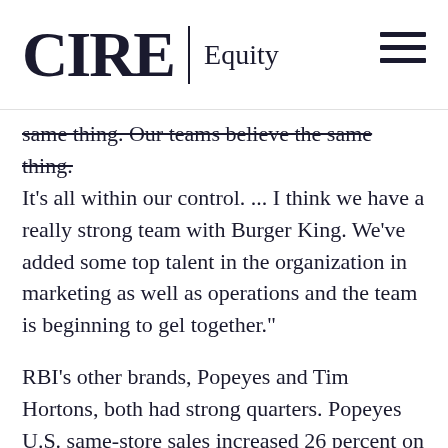CIRE | Equity
same thing. Our teams believe the same thing. It's all within our control. ... I think we have a really strong team with Burger King. We've added some top talent in the organization in marketing as well as operations and the team is beginning to gel together."
RBI's other brands, Popeyes and Tim Hortons, both had strong quarters. Popeyes U.S. same-store sales increased 26 percent on a two-year stack, still driven by the viral chicken sandwich that debuted in the latter half of 2019. Domestic AUVs are at $1.8 million, compared